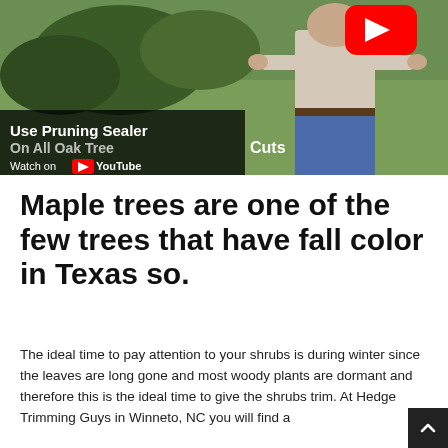[Figure (screenshot): YouTube video thumbnail showing a person outdoors near trees with text 'Use Pruning Sealer On All Oak Tree Cuts' and a 'Watch on YouTube' overlay at the bottom left, plus a red YouTube play button at the top right.]
Maple trees are one of the few trees that have fall color in Texas so.
The ideal time to pay attention to your shrubs is during winter since the leaves are long gone and most woody plants are dormant and therefore this is the ideal time to give the shrubs trim. At Hedge Trimming Guys in Winneto, NC you will find a